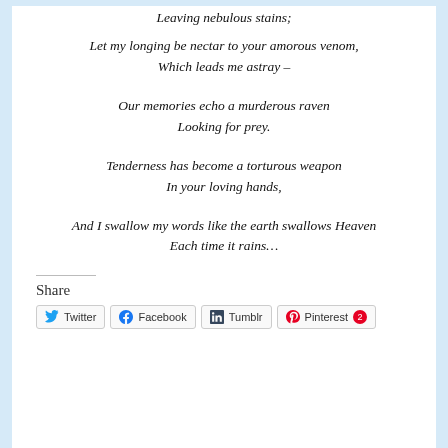Leaving nebulous stains;
Let my longing be nectar to your amorous venom,
Which leads me astray –

Our memories echo a murderous raven
Looking for prey.

Tenderness has become a torturous weapon
In your loving hands,

And I swallow my words like the earth swallows Heaven
Each time it rains…
Share
Twitter | Facebook | Tumblr | Pinterest 2